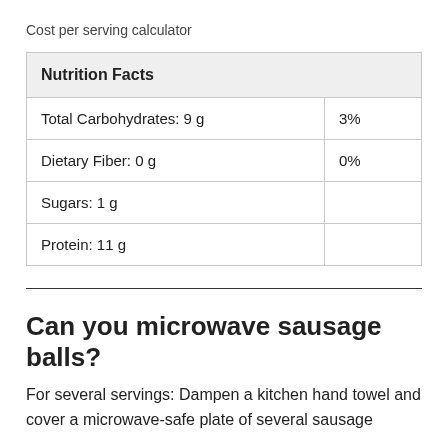Cost per serving calculator
| Nutrition Facts |  |
| --- | --- |
| Total Carbohydrates: 9 g | 3% |
| Dietary Fiber: 0 g | 0% |
| Sugars: 1 g |  |
| Protein: 11 g |  |
Can you microwave sausage balls?
For several servings: Dampen a kitchen hand towel and cover a microwave-safe plate of several sausage